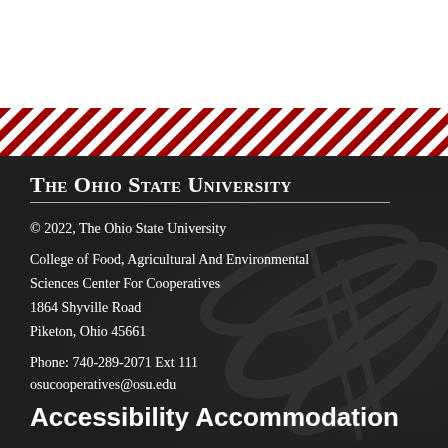[Figure (illustration): Diagonal red and white stripe decorative band]
The Ohio State University
© 2022, The Ohio State University

College of Food, Agricultural And Environmental Sciences Center For Cooperatives
1864 Shyville Road
Piketon, Ohio 45661

Phone: 740-289-2071 Ext 111
osucooperatives@osu.edu
Accessibility Accommodation